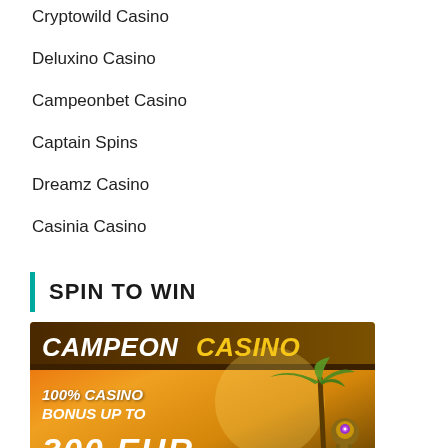Cryptowild Casino
Deluxino Casino
Campeonbet Casino
Captain Spins
Dreamz Casino
Casinia Casino
SPIN TO WIN
[Figure (illustration): Campeon Casino advertisement banner showing '100% CASINO BONUS UP TO 300 EUR' with orange/yellow gradient background, palm tree, and decorative idol character.]